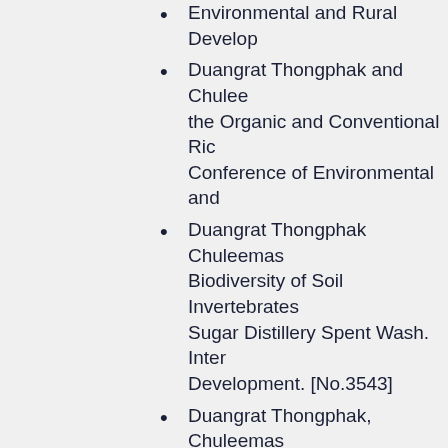Environmental and Rural Development
Duangrat Thongphak and Chuleemas the Organic and Conventional Rice Conference of Environmental and
Duangrat Thongphak Chuleemas Biodiversity of Soil Invertebrates Sugar Distillery Spent Wash. International Development. [No.3543]
Duangrat Thongphak, Chuleemas Organic and Conventional Rice Fields Conference on Environmental and Cambodia. [No.3878]
DUANGRAT THONGPHAK, CHULEE in the Organic and Conventional Rice Conference on Environmental and
Duangrat Thongphaka, Chuleema Biodiversity of Soil Invertebrates Spent Wash Liquor in Sugar Cane "Towards International Collaboration
Duangrat Thongphakand Siriporn